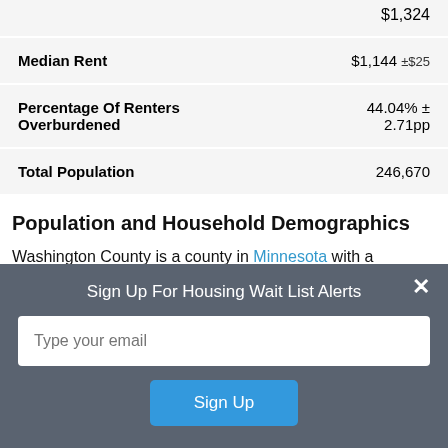|  |  |
| --- | --- |
|  | $1,324 |
| Median Rent | $1,144 ±$25 |
| Percentage Of Renters Overburdened | 44.04% ± 2.71pp |
| Total Population | 246,670 |
Population and Household Demographics
Washington County is a county in Minnesota with a population of 246,670. There are 90,932 households in the county with an average household size of 2.67.
Sign Up For Housing Wait List Alerts